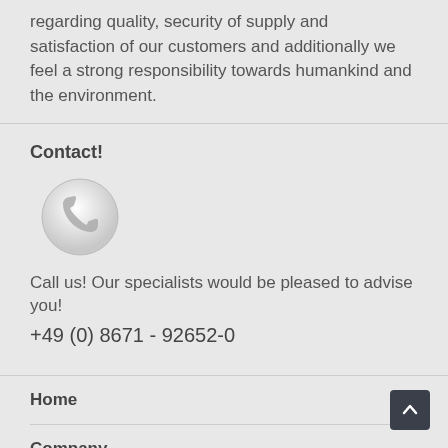regarding quality, security of supply and satisfaction of our customers and additionally we feel a strong responsibility towards humankind and the environment.
Contact!
[Figure (illustration): Phone icon in a grey circular button]
Call us! Our specialists would be pleased to advise you!
+49 (0) 8671 - 92652-0
Home
Company
Company goals